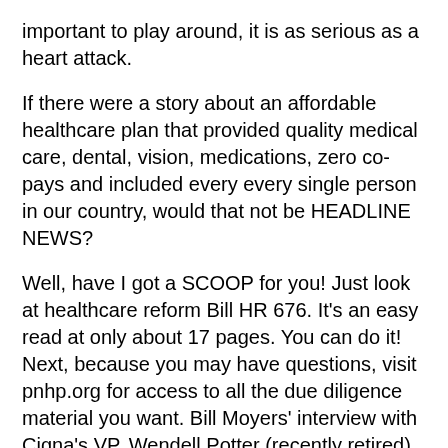important to play around, it is as serious as a heart attack.
If there were a story about an affordable healthcare plan that provided quality medical care, dental, vision, medications, zero co-pays and included every every single person in our country, would that not be HEADLINE NEWS?
Well, have I got a SCOOP for you! Just look at healthcare reform Bill HR 676. It's an easy read at only about 17 pages. You can do it! Next, because you may have questions, visit pnhp.org for access to all the due diligence material you want. Bill Moyers' interview with Cigna's VP, Wendell Potter (recently retired), is available for viewing or text reading on the webat PBS, and will provide first class background material – and we aren't talkin' B Roll. Bill Moyers Journal . Watch & Listen | PBS, your link to a 59 minute bullseye.